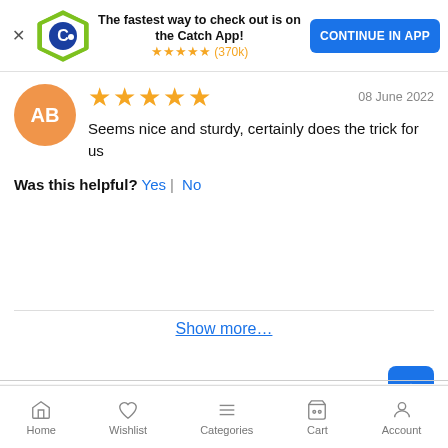[Figure (screenshot): App download banner with Catch logo, star rating (370k), and CONTINUE IN APP button]
AB
★★★★★   08 June 2022
Seems nice and sturdy, certainly does the trick for us
Was this helpful? Yes | No
Show more…
Popular Searches
Home  Wishlist  Categories  Cart  Account